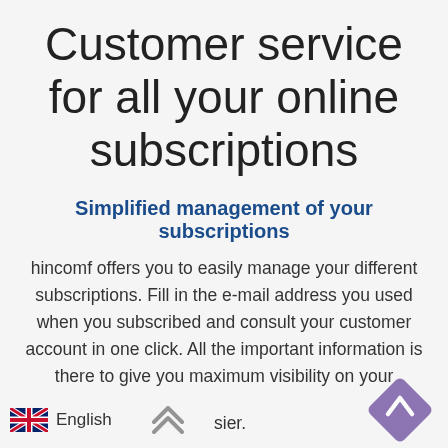Customer service for all your online subscriptions
Simplified management of your subscriptions
hincomf offers you to easily manage your different subscriptions. Fill in the e-mail address you used when you subscribed and consult your customer account in one click. All the important information is there to give you maximum visibility on your different subscriptions. You can also contact the agents responsible for your offer, ask to be called back, unsubscribe or make a complaint. Everything is done to ensure that you manage these subscriptions that make your life sier.
English